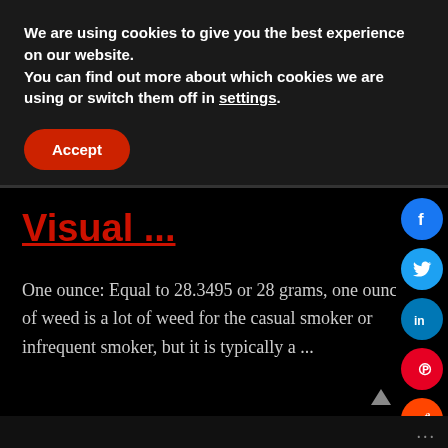We are using cookies to give you the best experience on our website.
You can find out more about which cookies we are using or switch them off in settings.
Accept
Visual ...
One ounce: Equal to 28.3495 or 28 grams, one ounce of weed is a lot of weed for the casual smoker or infrequent smoker, but it is typically a ...